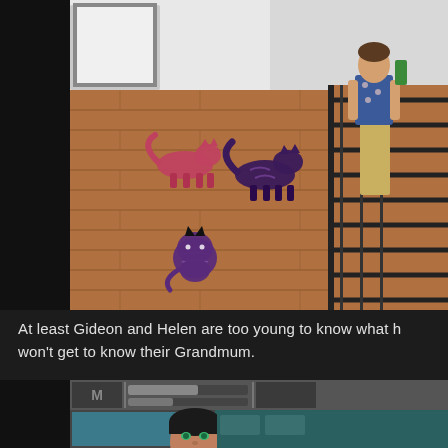[Figure (screenshot): Screenshot from The Sims video game showing three purple/pink cats on a wooden floor interior, with a human character visible on stairs to the right. The room has white walls and hardwood flooring.]
At least Gideon and Helen are too young to know what h won't get to know their Grandmum.
[Figure (screenshot): Partial screenshot from The Sims showing a game UI interface with progress bars at the top and a dark-haired Sim character with green eyes on a teal background at the bottom.]